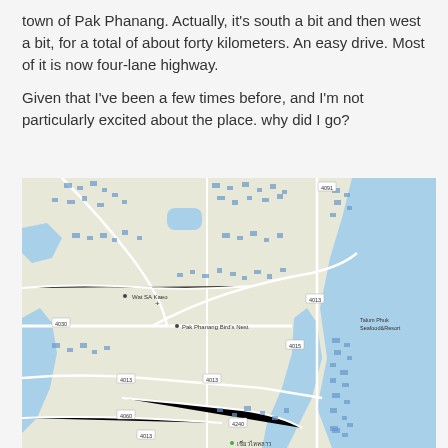town of Pak Phanang. Actually, it's south a bit and then west a bit, for a total of about forty kilometers. An easy drive. Most of it is now four-lane highway.
Given that I've been a few times before, and I'm not particularly excited about the place. why did I go?
[Figure (map): Google Maps view of Pak Phanang area showing streets, waterways (blue), buildings (blue outlines), and the Gulf of Thailand (blue) on the right side. Notable labels include Wat SA Kaeo, Pak Phanang Bird's Nest, Talum Phuk Seafood&Resort, and route numbers 4091, 4013, 4015, 4030, 4013, 4060, 4013, 4240, and Thai text.]